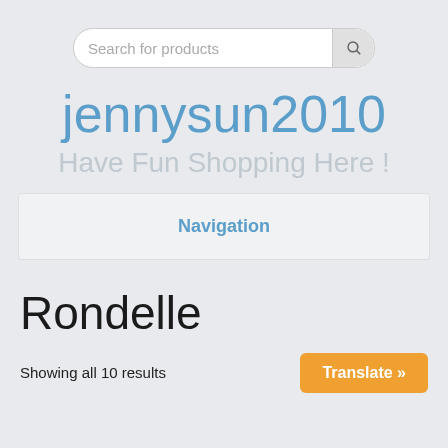Search for products
jennysun2010
Have Fun Shopping Here !
Navigation
Rondelle
Showing all 10 results
Translate »